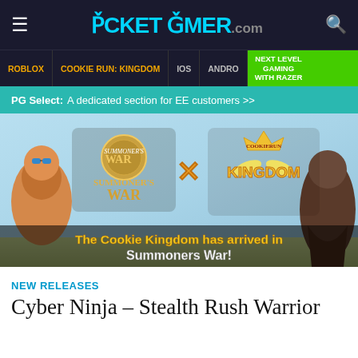POCKET GAMER.com
ROBLOX | COOKIE RUN: KINGDOM | iOS | ANDRO | NEXT LEVEL GAMING WITH RAZER
PG Select: A dedicated section for EE customers >>
[Figure (illustration): Promotional banner for Summoners War x Cookie Run: Kingdom crossover event. Shows game logos and characters with text 'The Cookie Kingdom has arrived in Summoners War!']
NEW RELEASES
Cyber Ninja – Stealth Rush Warrior